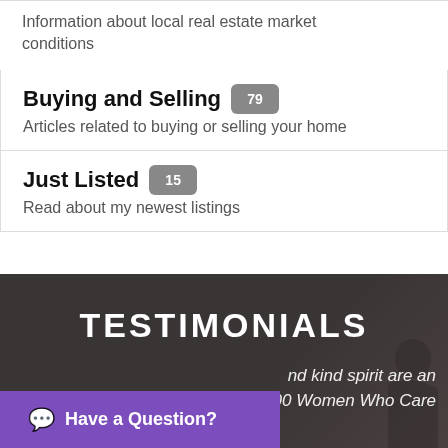Information about local real estate market conditions
Buying and Selling 79
Articles related to buying or selling your home
Just Listed 15
Read about my newest listings
TESTIMONIALS
nd kind spirit are an
00 Women Who Care
Have a Question?